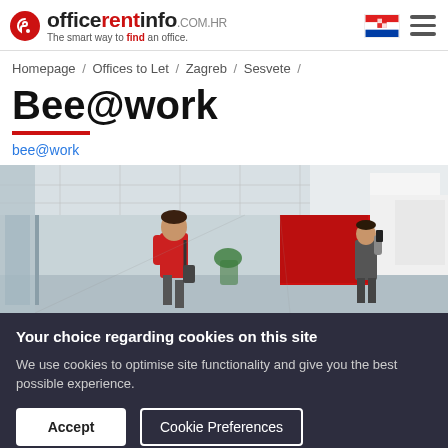officerentinfo.com.hr – The smart way to find an office.
Homepage / Offices to Let / Zagreb / Sesvete /
Bee@work
bee@work
[Figure (photo): Interior of a modern office space with glass partitions, a person in a red shirt walking down the corridor, and another person on the phone near a red accent wall.]
Your choice regarding cookies on this site
We use cookies to optimise site functionality and give you the best possible experience.
Accept  Cookie Preferences